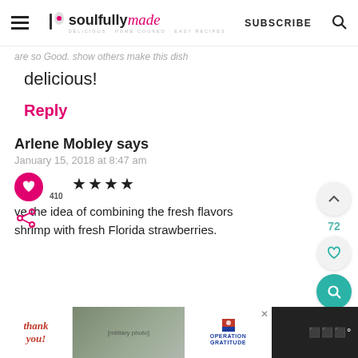soulfully made — SUBSCRIBE
delicious!
Reply
Arlene Mobley says
January 15, 2018 at 8:47 am
410
ve the idea of combining the fresh flavors shrimp with fresh Florida strawberries.
[Figure (screenshot): Operation Gratitude advertisement banner with thank you text and military photo]